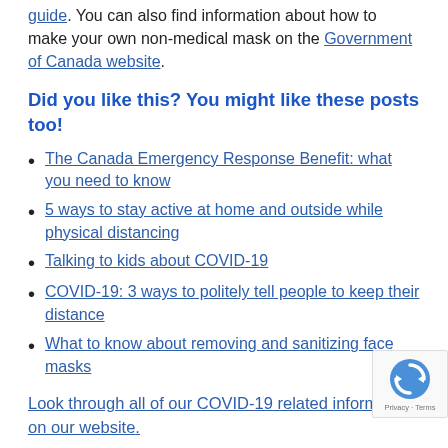guide. You can also find information about how to make your own non-medical mask on the Government of Canada website.
Did you like this? You might like these posts too!
The Canada Emergency Response Benefit: what you need to know
5 ways to stay active at home and outside while physical distancing
Talking to kids about COVID-19
COVID-19: 3 ways to politely tell people to keep their distance
What to know about removing and sanitizing face masks
Look through all of our COVID-19 related information on our website.